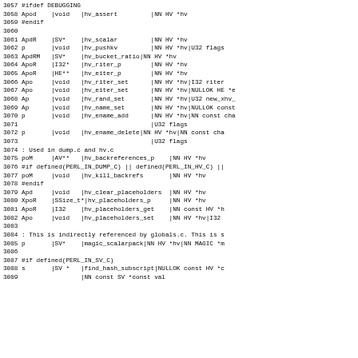3057 #ifdef DEBUGGING
3058 Apod    |void   |hv_assert         |NN HV *hv
3059 #endif
3060
3061 ApdR    |SV*    |hv_scalar         |NN HV *hv
3062 p       |void   |hv_pushkv         |NN HV *hv|U32 flags
3063 ApdRM   |SV*    |hv_bucket_ratio|NN HV *hv
3064 ApoR    |I32*   |hv_riter_p        |NN HV *hv
3065 ApoR    |HE**   |hv_eiter_p        |NN HV *hv
3066 Apo     |void   |hv_riter_set      |NN HV *hv|I32 riter
3067 Apo     |void   |hv_eiter_set      |NN HV *hv|NULLOK HE *e
3068 Ap      |void   |hv_rand_set       |NN HV *hv|U32 new_xhv_
3069 Ap      |void   |hv_name_set       |NN HV *hv|NULLOK const
3070 p       |void   |hv_ename_add      |NN HV *hv|NN const cha
3071                                    |U32 flags
3072 p       |void   |hv_ename_delete|NN HV *hv|NN const cha
3073                                    |U32 flags
3074 : Used in dump.c and hv.c
3075 poM     |AV**   |hv_backreferences_p    |NN HV *hv
3076 #if defined(PERL_IN_DUMP_C) || defined(PERL_IN_HV_C) ||
3077 poM     |void   |hv_kill_backrefs       |NN HV *hv
3078 #endif
3079 Apd     |void   |hv_clear_placeholders  |NN HV *hv
3080 XpoR    |SSize_t*|hv_placeholders_p     |NN HV *hv
3081 ApoR    |I32    |hv_placeholders_get    |NN const HV *h
3082 Apo     |void   |hv_placeholders_set    |NN HV *hv|I32
3083
3084 : This is indirectly referenced by globals.c. This is s
3085 p       |SV*    |magic_scalarpack|NN HV *hv|NN MAGIC *m
3086
3087 #if defined(PERL_IN_SV_C)
3088 s       |SV *   |find_hash_subscript|NULLOK const HV *c
3089                 |NN const SV *const val